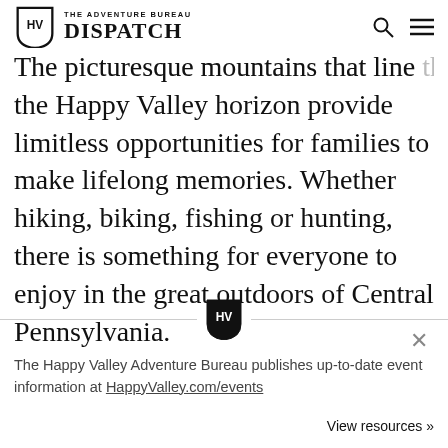THE ADVENTURE BUREAU DISPATCH
The picturesque mountains that line the Happy Valley horizon provide limitless opportunities for families to make lifelong memories. Whether hiking, biking, fishing or hunting, there is something for everyone to enjoy in the great outdoors of Central Pennsylvania.
[Figure (logo): HV keystone shield badge divider]
The Happy Valley Adventure Bureau publishes up-to-date event information at HappyValley.com/events
View resources »